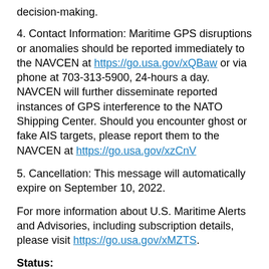decision-making.
4. Contact Information: Maritime GPS disruptions or anomalies should be reported immediately to the NAVCEN at https://go.usa.gov/xQBaw or via phone at 703-313-5900, 24-hours a day. NAVCEN will further disseminate reported instances of GPS interference to the NATO Shipping Center. Should you encounter ghost or fake AIS targets, please report them to the NAVCEN at https://go.usa.gov/xzCnV
5. Cancellation: This message will automatically expire on September 10, 2022.
For more information about U.S. Maritime Alerts and Advisories, including subscription details, please visit https://go.usa.gov/xMZTS.
Status:
Active
Geographic Location: Various